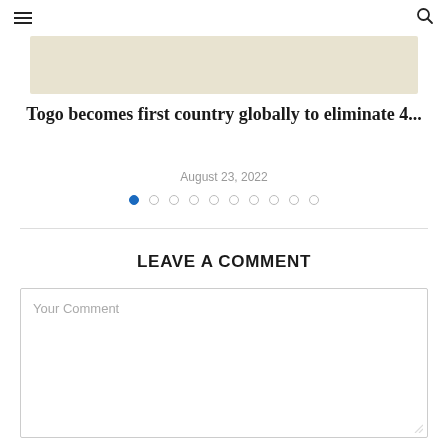☰  🔍
[Figure (photo): Beige/tan colored image strip at top of article]
Togo becomes first country globally to eliminate 4...
August 23, 2022
[Figure (infographic): Pagination dots row — 10 dots, first dot filled blue]
LEAVE A COMMENT
Your Comment